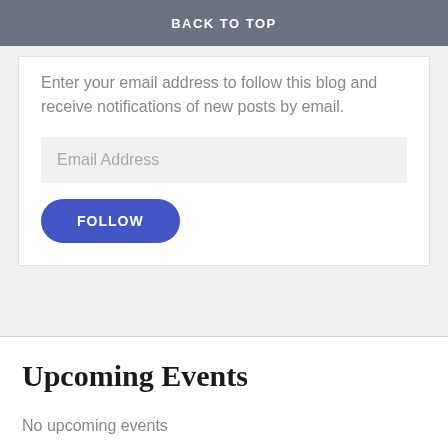BACK TO TOP
Enter your email address to follow this blog and receive notifications of new posts by email.
Email Address
FOLLOW
Upcoming Events
No upcoming events